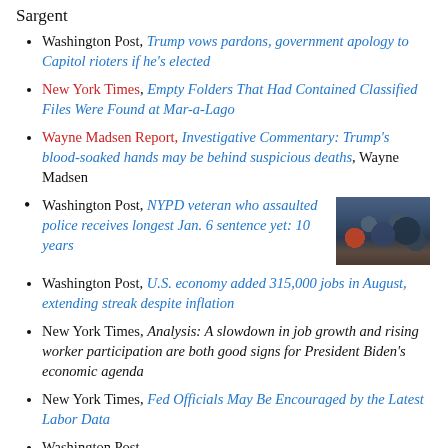Sargent
Washington Post, Trump vows pardons, government apology to Capitol rioters if he's elected
New York Times, Empty Folders That Had Contained Classified Files Were Found at Mar-a-Lago
Wayne Madsen Report, Investigative Commentary: Trump's blood-soaked hands may be behind suspicious deaths, Wayne Madsen
Washington Post, NYPD veteran who assaulted police receives longest Jan. 6 sentence yet: 10 years
[Figure (photo): Crowd photo showing people at what appears to be a protest or rally scene]
Washington Post, U.S. economy added 315,000 jobs in August, extending streak despite inflation
New York Times, Analysis: A slowdown in job growth and rising worker participation are both good signs for President Biden's economic agenda
New York Times, Fed Officials May Be Encouraged by the Latest Labor Data
Washington Post, [truncated]